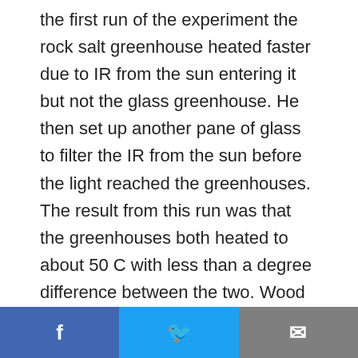the first run of the experiment the rock salt greenhouse heated faster due to IR from the sun entering it but not the glass greenhouse. He then set up another pane of glass to filter the IR from the sun before the light reached the greenhouses. The result from this run was that the greenhouses both heated to about 50 C with less than a degree difference between the two. Wood didn't indicate which was warmer or whether there was any difference in the thermal conductivity between the glass sheet and the rock salt. A slight difference in the
Facebook | Twitter | Email